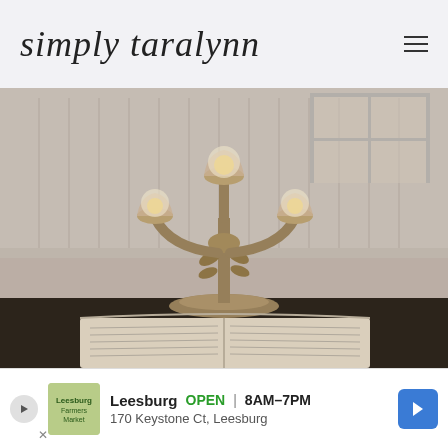simply taralynn
[Figure (photo): A decorative three-armed bronze/gold candelabra with glass flower-shaped candle holders, sitting on a dark marble countertop against a white beadboard wall background, with an open book in the foreground]
[Figure (infographic): Advertisement bar: Leesburg, OPEN 8AM-7PM, 170 Keystone Ct, Leesburg, with a logo, play button, and blue navigation arrow]